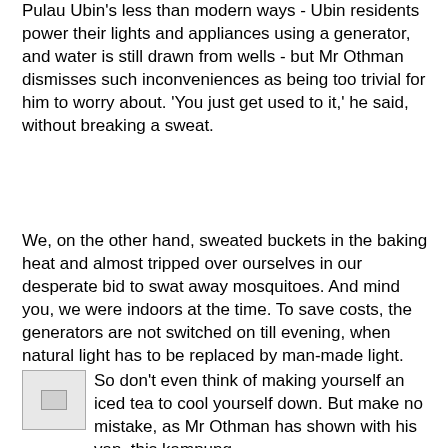Pulau Ubin's less than modern ways - Ubin residents power their lights and appliances using a generator, and water is still drawn from wells - but Mr Othman dismisses such inconveniences as being too trivial for him to worry about. 'You just get used to it,' he said, without breaking a sweat.
We, on the other hand, sweated buckets in the baking heat and almost tripped over ourselves in our desperate bid to swat away mosquitoes. And mind you, we were indoors at the time. To save costs, the generators are not switched on till evening, when natural light has to be replaced by man-made light.
[Figure (photo): Small image placeholder with broken image icon]
So don't even think of making yourself an iced tea to cool yourself down. But make no mistake, as Mr Othman has shown with his van, this kampung aficionado isn't about to leave all the inconveniences of modern technology behind. A karaoke fan, his living room can barely contain his entertainment unit - two large speakers, a 21-inch television set and a single player which plays CDs, VCDs, DVDs as well as your almost-defunct videos. 'With this (his entertainment unit), I never feel lonely,'